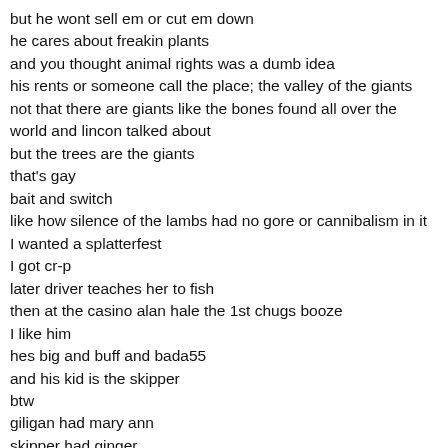but he wont sell em or cut em down
he cares about freakin plants
and you thought animal rights was a dumb idea
his rents or someone call the place; the valley of the giants
not that there are giants like the bones found all over the world and lincon talked about
but the trees are the giants
that's gay
bait and switch
like how silence of the lambs had no gore or cannibalism in it
I wanted a splatterfest
I got cr-p
later driver teaches her to fish
then at the casino alan hale the 1st chugs booze
I like him
hes big and buff and bada55
and his kid is the skipper
btw
giligan had mary ann
skipper had ginger
millionare had his wife
who did the professer b0ne?